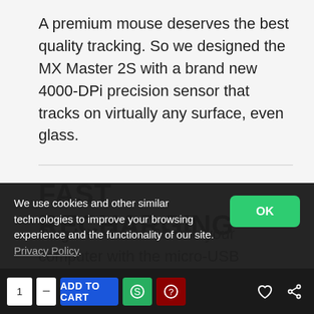A premium mouse deserves the best quality tracking. So we designed the MX Master 2S with a brand new 4000-DPi precision sensor that tracks on virtually any surface, even glass.
FAST RECHARGING
Plug MX Master 2S into your computer with the micro-USB charging cable and in just 3 minutes, it will be charged up and ready to
We use cookies and other similar technologies to improve your browsing experience and the functionality of our site. Privacy Policy.